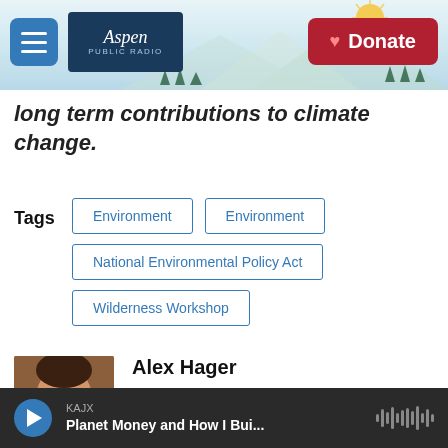[Figure (screenshot): Aspen Public Radio website header with logo, hamburger menu, mountain illustration background, and red Donate button]
long term contributions to climate change.
Tags  Environment  Environment  National Environmental Policy Act  Wilderness Workshop
Alex Hager
Alex is KUNC's reporter covering the Colorado River Basin. He spent two years
KAJX  Planet Money and How I Bui...